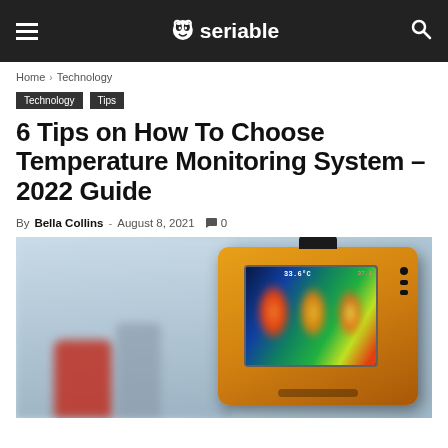seriable
Home › Technology
Technology  Tips
6 Tips on How To Choose Temperature Monitoring System – 2022 Guide
By Bella Collins - August 8, 2021  0
[Figure (photo): Thermal imaging camera with screen showing heat-mapped silhouettes of people, yellow/orange camera body, blurred background with people]